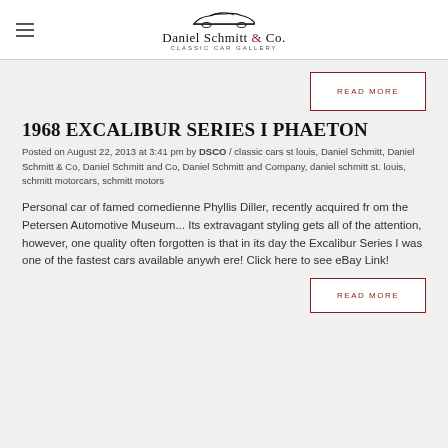Daniel Schmitt & Co. Classic Car Gallery
1968 EXCALIBUR SERIES I PHAETON
Posted on August 22, 2013 at 3:41 pm by DSCO / classic cars st louis, Daniel Schmitt, Daniel Schmitt & Co, Daniel Schmitt and Co, Daniel Schmitt and Company, daniel schmitt st. louis, schmitt motorcars, schmitt motors
Personal car of famed comedienne Phyllis Diller, recently acquired from the Petersen Automotive Museum... Its extravagant styling gets all of the attention, however, one quality often forgotten is that in its day the Excalibur Series I was one of the fastest cars available anywhere! Click here to see eBay Link!